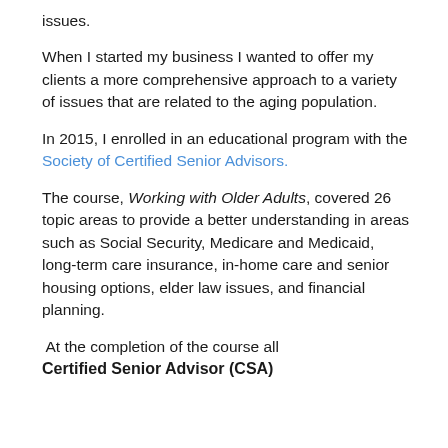issues.
When I started my business I wanted to offer my clients a more comprehensive approach to a variety of issues that are related to the aging population.
In 2015, I enrolled in an educational program with the Society of Certified Senior Advisors.
The course, Working with Older Adults, covered 26 topic areas to provide a better understanding in areas such as Social Security, Medicare and Medicaid, long-term care insurance, in-home care and senior housing options, elder law issues, and financial planning.
At the completion of the course all Certified Senior Advisor (CSA)